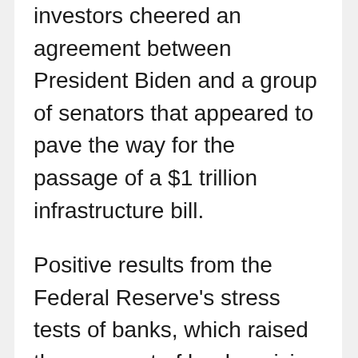investors cheered an agreement between President Biden and a group of senators that appeared to pave the way for the passage of a $1 trillion infrastructure bill.
Positive results from the Federal Reserve's stress tests of banks, which raised the prospect of banks raising their dividend payouts and share buybacks, and a key inflation measure coming in at market expectations provided impetus for further gains. The S&P 500 had its best week since February and ended the five-trading days at a record high.